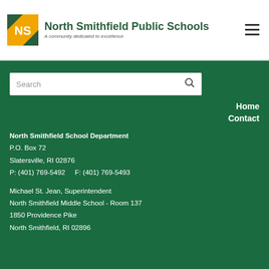North Smithfield Public Schools — A community dedicated to excellence
[Figure (logo): NS logo with green and gold square, initials NS]
Search
Home
Contact
North Smithfield School Department
P.O. Box 72
Slatersville, RI 02876
P: (401) 769-5492     F: (401) 769-5493
Michael St. Jean, Superintendent
North Smithfield Middle School - Room 137
1850 Providence Pike
North Smithfield, RI 02896